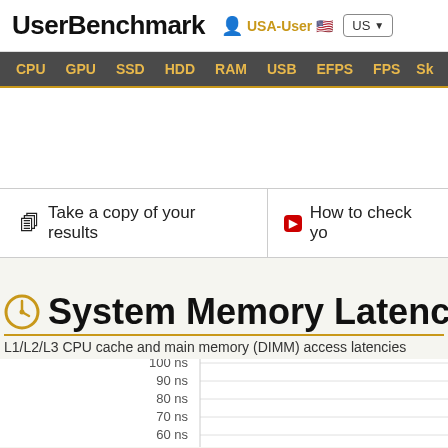UserBenchmark   USA-User   US
CPU  GPU  SSD  HDD  RAM  USB  EFPS  FPS  Sk
Take a copy of your results
How to check yo
System Memory Latency Ladder
L1/L2/L3 CPU cache and main memory (DIMM) access latencies
[Figure (continuous-plot): System Memory Latency Ladder chart showing y-axis labels from 60 ns to 100 ns at the bottom portion of the chart. Chart area shows a white background with gridlines.]